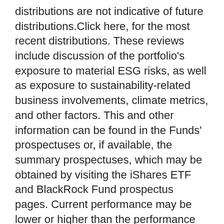distributions are not indicative of future distributions.Click here, for the most recent distributions. These reviews include discussion of the portfolio's exposure to material ESG risks, as well as exposure to sustainability-related business involvements, climate metrics, and other factors. This and other information can be found in the Funds' prospectuses or, if available, the summary prospectuses, which may be obtained by visiting the iShares ETF and BlackRock Fund prospectus pages. Current performance may be lower or higher than the performance data quoted. The metrics are based on MSCI ESG Fund Ratings and, unless otherwise stated in fund documentation and included within a fund's investment objective, do not change a fund's investment objective or constrain the fund's investable universe, and